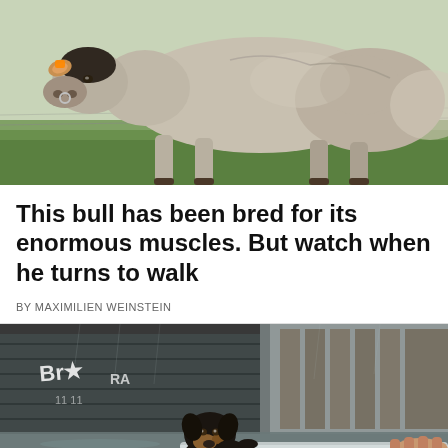[Figure (photo): Close-up photo of a large muscular grey/white Belgian Blue bull standing in a green grassy field. The bull faces left, showing its enormous muscular body. A nose ring is visible.]
This bull has been bred for its enormous muscles. But watch when he turns to walk
BY MAXIMILIEN WEINSTEIN
[Figure (photo): Photo of a flooded street. A black and tan dog (Rottweiler mix) clings to a metal railing/barrier in deep flood water. A person's hand is visible reaching toward the dog. In the background there is a shuttered storefront with graffiti.]